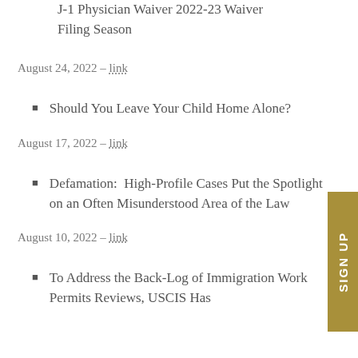J-1 Physician Waiver 2022-23 Waiver Filing Season
August 24, 2022 – link
Should You Leave Your Child Home Alone?
August 17, 2022 – link
Defamation:  High-Profile Cases Put the Spotlight on an Often Misunderstood Area of the Law
August 10, 2022 – link
To Address the Back-Log of Immigration Work Permits Reviews, USCIS Has